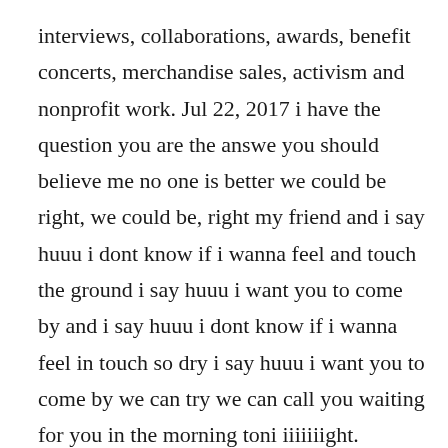interviews, collaborations, awards, benefit concerts, merchandise sales, activism and nonprofit work. Jul 22, 2017 i have the question you are the answe you should believe me no one is better we could be right, we could be, right my friend and i say huuu i dont know if i wanna feel and touch the ground i say huuu i want you to come by and i say huuu i dont know if i wanna feel in touch so dry i say huuu i want you to come by we can try we can call you waiting for you in the morning toni iiiiiiight.